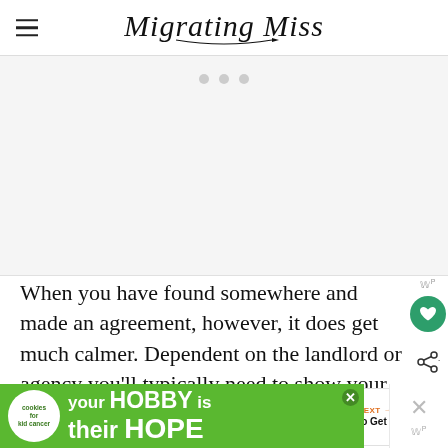Migrating Miss
[Figure (other): Gray placeholder area with three dots indicating an ad or carousel]
When you have found somewhere and made an agreement, however, it does get much calmer. Dependent on the landlord or agency you'll typically need to show your passport and deposit and rent agreed. By going through an agency
[Figure (other): What's Next card showing '5 Ways to Get Around...' with a circular image of a plaza]
[Figure (other): Bottom ad banner: cookies for kid cancer — your HOBBY is their HOPE]